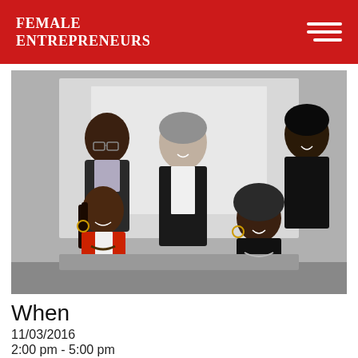Female Entrepreneurs
[Figure (photo): Five people in a professional setting: a young man in glasses and dark suit jacket standing at left, a woman in a red blazer seated at left, a woman with gray hair in black jacket and white top standing center, a woman in a black headwrap seated at right, and a woman in black at upper right. They appear to be in conversation, smiling.]
When
11/03/2016
2:00 pm - 5:00 pm